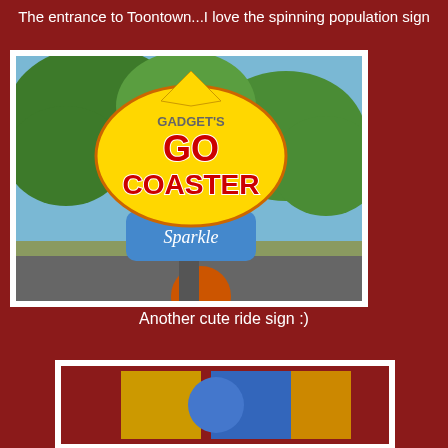The entrance to Toontown...I love the spinning population sign
[Figure (photo): Photo of Gadget's Go Coaster ride sign at Toontown, featuring a large yellow oval sign with 'Go Coaster' text in red, a blue box at the bottom with 'Sparkle' text, and trees in the background]
Another cute ride sign :)
[Figure (photo): Partial view of another attraction sign at Toontown]